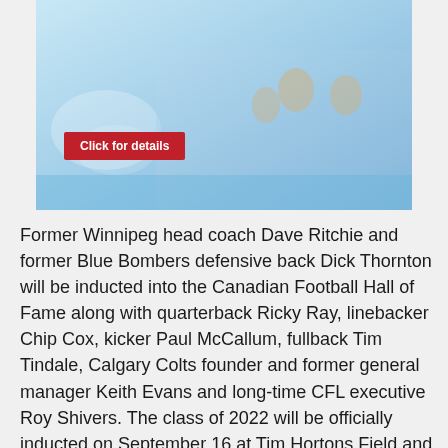[Figure (photo): Advertisement banner showing a family at a pool/water with 'as low as 5.62 OAC 6th year one' text and a red 'Click for details' button]
Former Winnipeg head coach Dave Ritchie and former Blue Bombers defensive back Dick Thornton will be inducted into the Canadian Football Hall of Fame along with quarterback Ricky Ray, linebacker Chip Cox, kicker Paul McCallum, fullback Tim Tindale, Calgary Colts founder and former general manager Keith Evans and long-time CFL executive Roy Shivers. The class of 2022 will be officially inducted on September 16 at Tim Hortons Field and honoured the following day at the annual Hall of Fame Game when the Blue Bombers visit the Hamilton Tiger-Cats. Both Ritchie and Thornton are also members of the Winnipeg Football Club Hall of Fame, with Ritchie inducted